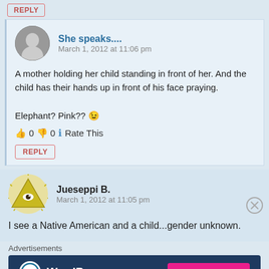REPLY
She speaks....
March 1, 2012 at 11:06 pm
A mother holding her child standing in front of her. And the child has their hands up in front of his face praying.

Elephant? Pink?? 😉
👍 0 👎 0 ℹ Rate This
REPLY
Jueseppi B.
March 1, 2012 at 11:05 pm
I see a Native American and a child...gender unknown.
Advertisements
[Figure (infographic): WordPress.com advertisement banner with logo and 'Build Your Website' pink button on dark blue background]